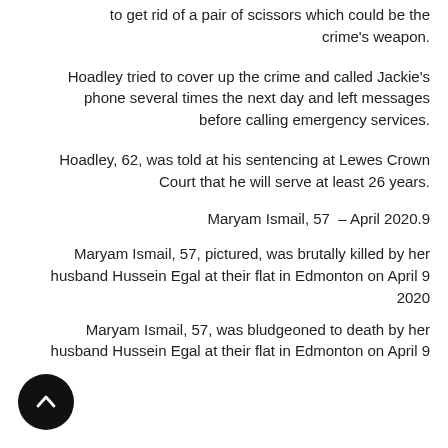to get rid of a pair of scissors which could be the crime's weapon.
Hoadley tried to cover up the crime and called Jackie's phone several times the next day and left messages before calling emergency services.
Hoadley, 62, was told at his sentencing at Lewes Crown Court that he will serve at least 26 years.
Maryam Ismail, 57  – April 2020.9
Maryam Ismail, 57, pictured, was brutally killed by her husband Hussein Egal at their flat in Edmonton on April 9 2020
Maryam Ismail, 57, was bludgeoned to death by her husband Hussein Egal at their flat in Edmonton on April 9